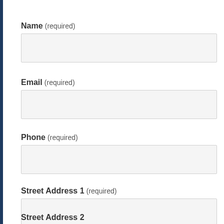Name (required)
Email (required)
Phone (required)
Street Address 1 (required)
Street Address 2